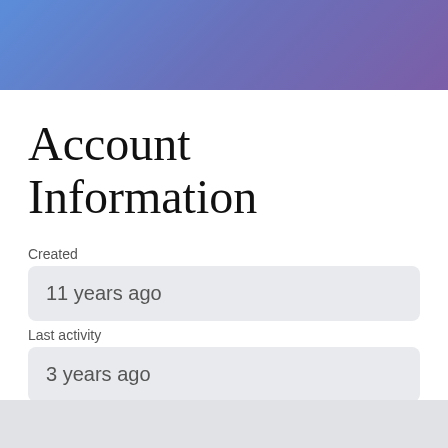Account Information
Created
11 years ago
Last activity
3 years ago